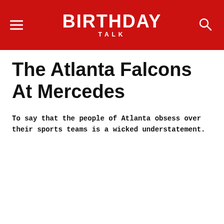BIRTHDAY TALK
The Atlanta Falcons At Mercedes
To say that the people of Atlanta obsess over their sports teams is a wicked understatement.